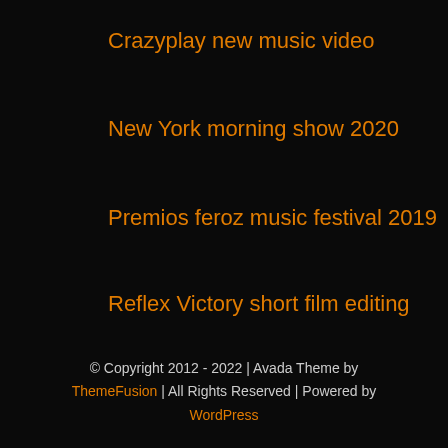Crazyplay new music video
New York morning show 2020
Premios feroz music festival 2019
Reflex Victory short film editing
© Copyright 2012 - 2022 | Avada Theme by ThemeFusion | All Rights Reserved | Powered by WordPress